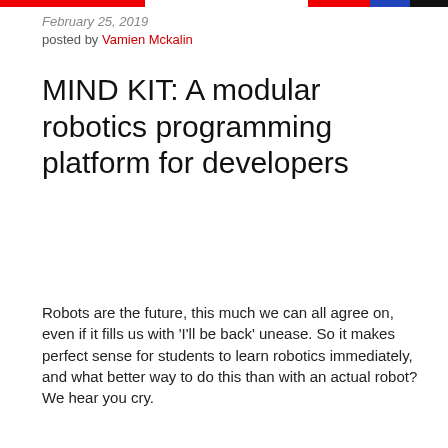February 25, 2019 | posted by Vamien Mckalin
MIND KIT: A modular robotics programming platform for developers
Robots are the future, this much we can all agree on, even if it fills us with 'I'll be back' unease. So it makes perfect sense for students to learn robotics immediately, and what better way to do this than with an actual robot? We hear you cry.
Continue Reading »
MIND KIT: A modular robotics programming platform for developers
This website uses cookies to improve your experience. We'll assume you're ok with this, but you can opt-out if you wish.